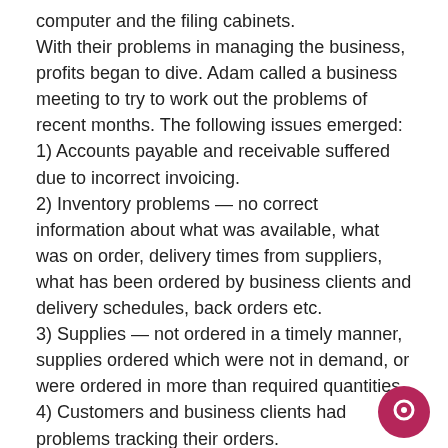computer and the filing cabinets.
With their problems in managing the business, profits began to dive. Adam called a business meeting to try to work out the problems of recent months. The following issues emerged:
1) Accounts payable and receivable suffered due to incorrect invoicing.
2) Inventory problems — no correct information about what was available, what was on order, delivery times from suppliers, what has been ordered by business clients and delivery schedules, back orders etc.
3) Supplies — not ordered in a timely manner, supplies ordered which were not in demand, or were ordered in more than required quantities.
4) Customers and business clients had problems tracking their orders.